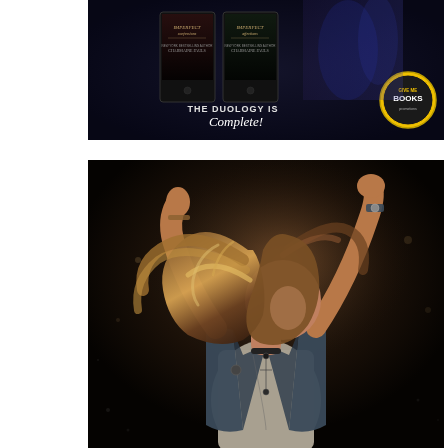[Figure (illustration): Promotional banner for 'Imperfect Confessions' duology by Charmaine Pauls. Shows two book covers displayed on tablets/phones, text reads 'THE DUOLOGY IS Complete!' with a 'Give Me Books Promotions' badge. Dark background with couple in background.]
[Figure (photo): Woman with long hair flying, wearing a denim vest and grey tank top with layered necklaces including a cross, raising arms against a dark background. Dynamic pose suggesting movement/dancing.]